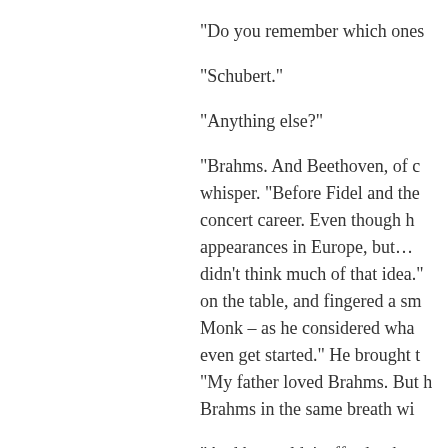“Do you remember which ones
“Schubert.”
“Anything else?”
“Brahms. And Beethoven, of c… whisper. “Before Fidel and the concert career. Even though h… appearances in Europe, but… didn’t think much of that idea.” on the table, and fingered a sm… Monk – as he considered wha… even get started.” He brought t… “My father loved Brahms. But h… Brahms in the same breath wi…
“And he couldn’t afford to buy
“Never. He played on all kinds the public schools where he ta… pianos. His students’ pianos w…